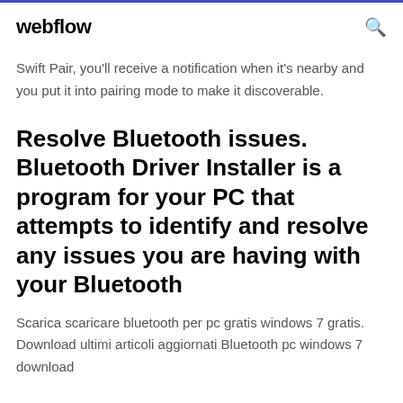webflow
Swift Pair, you'll receive a notification when it's nearby and you put it into pairing mode to make it discoverable.
Resolve Bluetooth issues. Bluetooth Driver Installer is a program for your PC that attempts to identify and resolve any issues you are having with your Bluetooth
Scarica scaricare bluetooth per pc gratis windows 7 gratis. Download ultimi articoli aggiornati Bluetooth pc windows 7 download